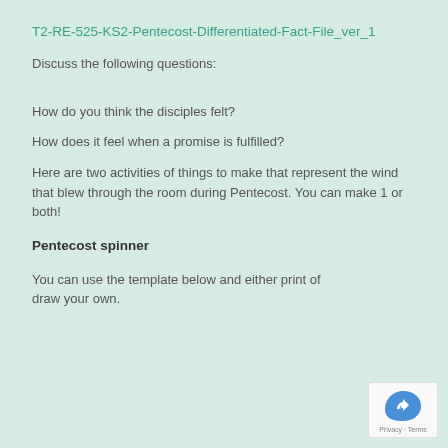T2-RE-525-KS2-Pentecost-Differentiated-Fact-File_ver_1
Discuss the following questions:
How do you think the disciples felt?
How does it feel when a promise is fulfilled?
Here are two activities of things to make that represent the wind that blew through the room during Pentecost. You can make 1 or both!
Pentecost spinner
You can use the template below and either print of draw your own.